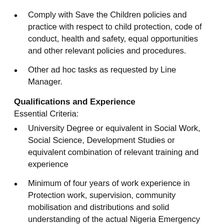Comply with Save the Children policies and practice with respect to child protection, code of conduct, health and safety, equal opportunities and other relevant policies and procedures.
Other ad hoc tasks as requested by Line Manager.
Qualifications and Experience
Essential Criteria:
University Degree or equivalent in Social Work, Social Science, Development Studies or equivalent combination of relevant training and experience
Minimum of four years of work experience in Protection work, supervision, community mobilisation and distributions and solid understanding of the actual Nigeria Emergency